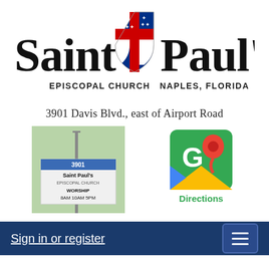[Figure (logo): Saint Paul's Episcopal Church Naples Florida logo with Episcopal shield (blue with white cross and stars, red cross, white lower field) between 'Saint' and 'Paul's' in large serif text, 'EPISCOPAL CHURCH' and 'NAPLES, FLORIDA' in smaller caps below]
3901 Davis Blvd., east of Airport Road
[Figure (photo): Photo of Saint Paul's Episcopal Church outdoor sign reading '3901 Saint Paul's Episcopal Church WORSHIP 8AM 10AM 5PM' with a cross on a pole]
[Figure (logo): Google Maps Directions icon - green map background with white G letter and red location pin marker, with 'Directions' text below in green]
Sign in or register
The hopes and fears of all the years...